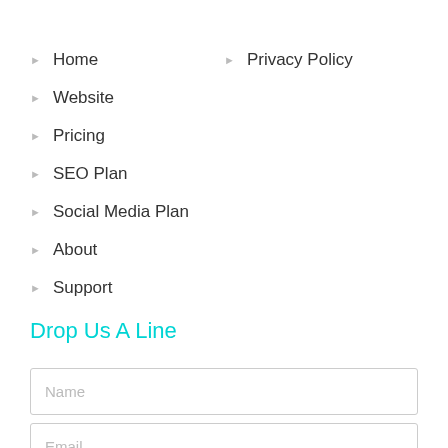Home
Privacy Policy
Website
Pricing
SEO Plan
Social Media Plan
About
Support
Drop Us A Line
Name
Email